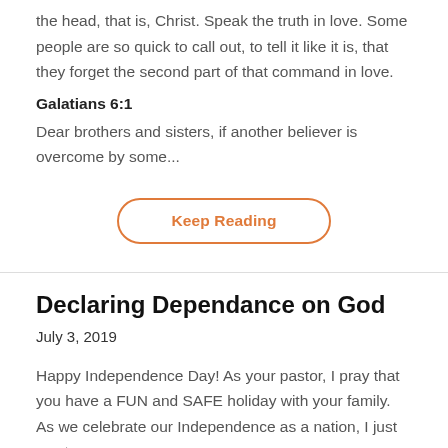the head, that is, Christ. Speak the truth in love. Some people are so quick to call out, to tell it like it is, that they forget the second part of that command in love.
Galatians 6:1
Dear brothers and sisters, if another believer is overcome by some...
[Figure (other): Keep Reading button with orange rounded border]
Declaring Dependance on God
July 3, 2019
Happy Independence Day! As your pastor, I pray that you have a FUN and SAFE holiday with your family. As we celebrate our Independence as a nation, I just want u...